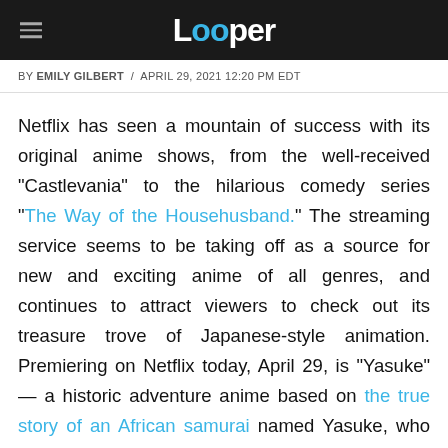Looper
BY EMILY GILBERT / APRIL 29, 2021 12:20 PM EDT
Netflix has seen a mountain of success with its original anime shows, from the well-received "Castlevania" to the hilarious comedy series "The Way of the Househusband." The streaming service seems to be taking off as a source for new and exciting anime of all genres, and continues to attract viewers to check out its treasure trove of Japanese-style animation. Premiering on Netflix today, April 29, is "Yasuke" — a historic adventure anime based on the true story of an African samurai named Yasuke, who fought in the service of Japanese